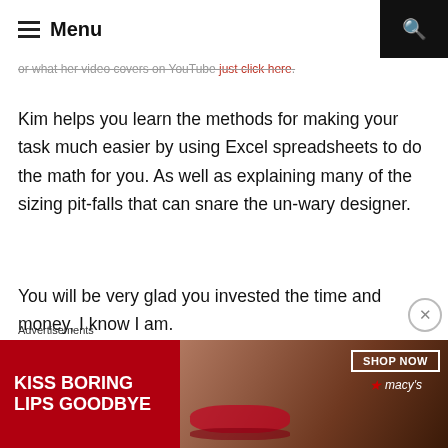Menu
or what her video covers on YouTube just click here.
Kim helps you learn the methods for making your task much easier by using Excel spreadsheets to do the math for you. As well as explaining many of the sizing pit-falls that can snare the un-wary designer.
You will be very glad you invested the time and money, I know I am.
SHARE THIS:
Facebook   Twitter
Advertisements
[Figure (photo): Advertisement banner: KISS BORING LIPS GOODBYE with SHOP NOW button and Macy's logo]